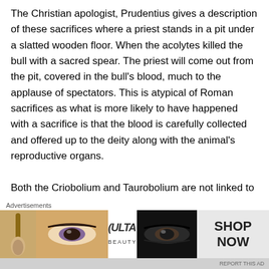The Christian apologist, Prudentius gives a description of these sacrifices where a priest stands in a pit under a slatted wooden floor. When the acolytes killed the bull with a sacred spear. The priest will come out from the pit, covered in the bull's blood, much to the applause of spectators. This is atypical of Roman sacrifices as what is more likely to have happened with a sacrifice is that the blood is carefully collected and offered up to the deity along with the animal's reproductive organs.

Both the Criobolium and Taurobolium are not linked to any specific religious celebration with Magna Mater, though they clearly have the same symbolism seen with the
[Figure (other): Advertisement banner for ULTA beauty products showing cosmetic images (lips, makeup brush, eyes) with SHOP NOW call to action]